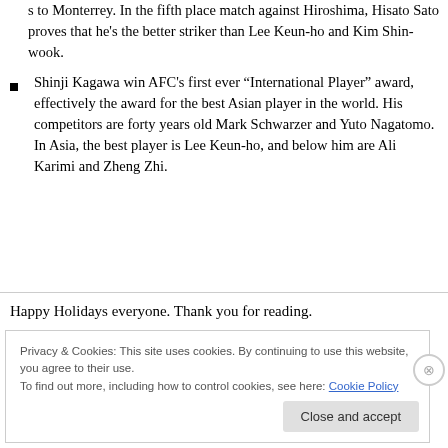s to Monterrey. In the fifth place match against Hiroshima, Hisato Sato proves that he's the better striker than Lee Keun-ho and Kim Shin-wook.
Shinji Kagawa win AFC's first ever “International Player” award, effectively the award for the best Asian player in the world. His competitors are forty years old Mark Schwarzer and Yuto Nagatomo. In Asia, the best player is Lee Keun-ho, and below him are Ali Karimi and Zheng Zhi.
Happy Holidays everyone. Thank you for reading.
Privacy & Cookies: This site uses cookies. By continuing to use this website, you agree to their use. To find out more, including how to control cookies, see here: Cookie Policy